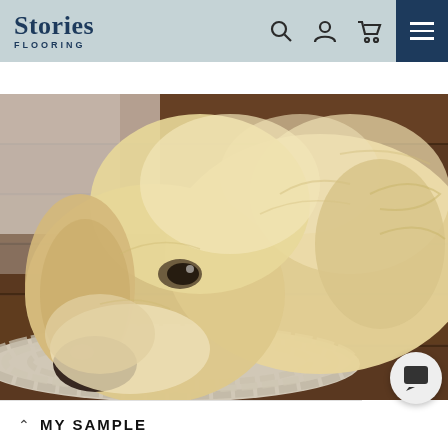[Figure (logo): Stories Flooring logo with text 'Stories' in serif font and 'FLOORING' in small caps below]
[Figure (screenshot): Website header navigation bar with light blue-grey background showing Stories Flooring logo on left, search/account/cart icons in center-right, and dark navy hamburger menu button on far right]
[Figure (photo): Close-up photo of a golden retriever dog lying down with its head resting on a chunky knit cream-colored rug on a dark hardwood floor]
MY SAMPLE